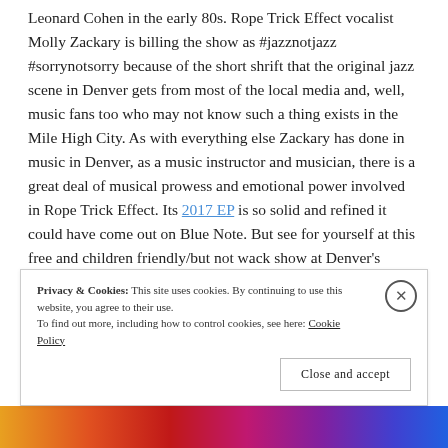Leonard Cohen in the early 80s. Rope Trick Effect vocalist Molly Zackary is billing the show as #jazznotjazz #sorrynotsorry because of the short shrift that the original jazz scene in Denver gets from most of the local media and, well, music fans too who may not know such a thing exists in the Mile High City. As with everything else Zackary has done in music in Denver, as a music instructor and musician, there is a great deal of musical prowess and emotional power involved in Rope Trick Effect. Its 2017 EP is so solid and refined it could have come out on Blue Note. But see for yourself at this free and children friendly/but not wack show at Denver's
Privacy & Cookies: This site uses cookies. By continuing to use this website, you agree to their use. To find out more, including how to control cookies, see here: Cookie Policy
Close and accept